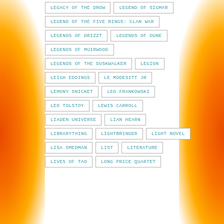LEGACY OF THE DROW
LEGEND OF SIGMAR
LEGEND OF THE FIVE RINGS: CLAN WAR
LEGENDS OF DRIZZT
LEGENDS OF DUNE
LEGENDS OF MUIRWOOD
LEGENDS OF THE DUSKWALKER
LEGION
LEIGH EDDINGS
LE MODESITT JR
LEMONY SNICKET
LEO FRANKOWSKI
LEO TOLSTOY
LEWIS CARROLL
LIADEN UNIVERSE
LIAN HEARN
LIBRARYTHING
LIGHTBRINGER
LIGHT NOVEL
LISA SMEDMAN
LIST
LITERATURE
LIVES OF TAO
LONG PRICE QUARTET